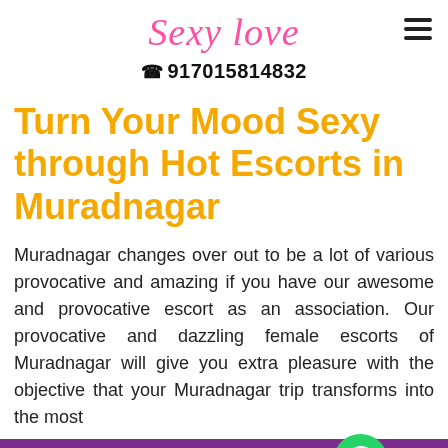Sexy Love
☎ 917015814832
Turn Your Mood Sexy through Hot Escorts in Muradnagar
Muradnagar changes over out to be a lot of various provocative and amazing if you have our awesome and provocative escort as an association. Our provocative and dazzling female escorts of Muradnagar will give you extra pleasure with the objective that your Muradnagar trip transforms into the most
Call Us 917015814832